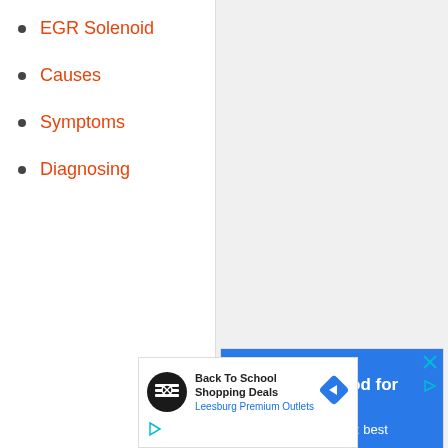EGR Solenoid
Causes
Symptoms
Diagnosing
[Figure (screenshot): Google Maps ad for True Food Kitchen with blue banner reading 'Sunshine & Food for the Soul' and map showing Renton area]
[Figure (screenshot): Ad for Back To School Shopping Deals at Leesburg Premium Outlets with black circular logo and blue diamond arrow icon]